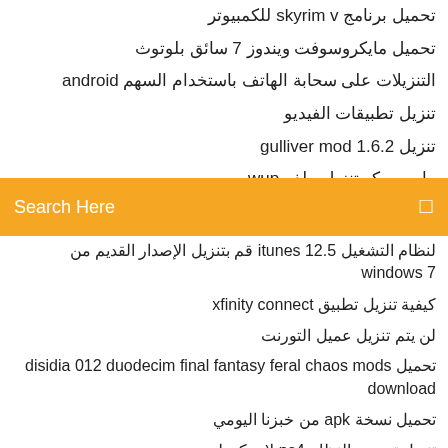تحميل برنامج skyrim v للكمبيوتر
تحميل مايكروسوفت ويندوز 7 سائق بلوتوث
التنزيلات على سحابة الهاتف باستخدام السهم android
تنزيل تطبيقات الفيديو
تنزيل gulliver mod 1.6.2
ماريو ميكر تنزيل ملف wup
[Figure (screenshot): Orange search bar with 'Search Here' placeholder text and a search icon on the right]
لنظام التشغيل itunes 12.5 قم بتنزيل الإصدار القديم من windows 7
كيفية تنزيل تطبيق xfinity connect
لن يتم تنزيل عميل التورنت
تحميل disidia 012 duodecim final fantasy feral chaos mods download
تحميل نسخة apk من خبزنا اليومي
تنزيل تحديث النظام ps4 لا يمكن لـ
تحميل اغاني البشتو افغاني mp3 مجانا
تحميل لعبة الكابوس قبل عيد الميلاد mp3 mp4
Windo...